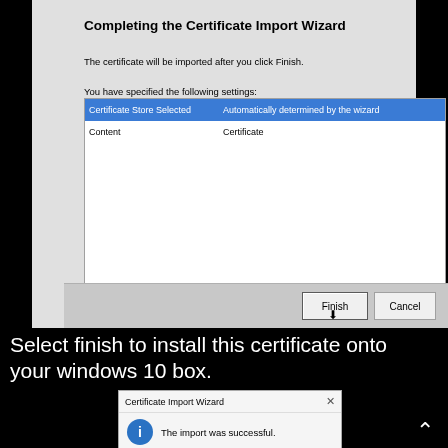[Figure (screenshot): Windows Certificate Import Wizard completion screen showing 'Completing the Certificate Import Wizard' title, body text, a settings table with Certificate Store Selected and Content rows, and Finish/Cancel buttons at the bottom.]
Select finish to install this certificate onto your windows 10 box.
[Figure (screenshot): Certificate Import Wizard dialog box showing 'The import was successful.' message with an info icon and a close button.]